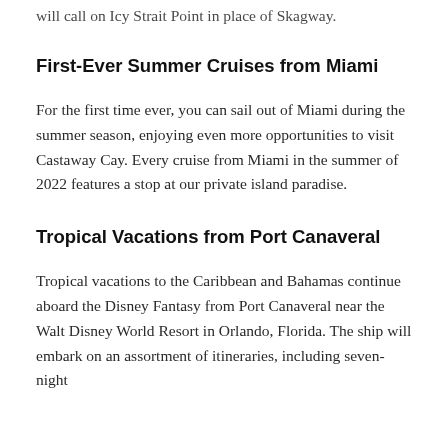will call on Icy Strait Point in place of Skagway.
First-Ever Summer Cruises from Miami
For the first time ever, you can sail out of Miami during the summer season, enjoying even more opportunities to visit Castaway Cay. Every cruise from Miami in the summer of 2022 features a stop at our private island paradise.
Tropical Vacations from Port Canaveral
Tropical vacations to the Caribbean and Bahamas continue aboard the Disney Fantasy from Port Canaveral near the Walt Disney World Resort in Orlando, Florida. The ship will embark on an assortment of itineraries, including seven-night